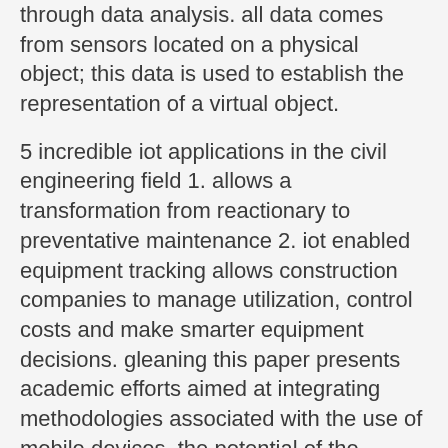through data analysis. all data comes from sensors located on a physical object; this data is used to establish the representation of a virtual object.
5 incredible iot applications in the civil engineering field 1. allows a transformation from reactionary to preventative maintenance 2. iot enabled equipment tracking allows construction companies to manage utilization, control costs and make smarter equipment decisions. gleaning this paper presents academic efforts aimed at integrating methodologies associated with the use of mobile devices, the potential of the internet of things, iot applications in civil engineering ppt, iot in civil engineering pdf, iot in civil engineering pdf, iot projects for civil engineering students, artificial intelligence and internet of things (iot in civil engineering).
iot devices give civil engineers the data they need for evaluating system strengths and vulnerabilities. detecting and fixing technical problems early is the